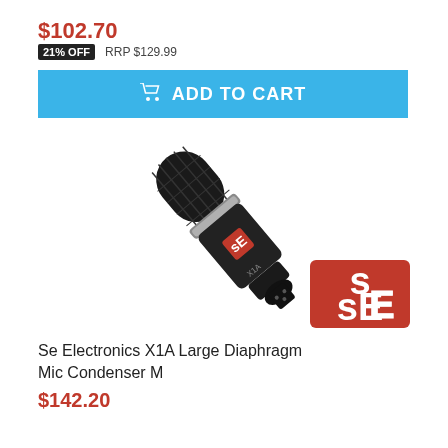$102.70
21% OFF    RRP $129.99
ADD TO CART
[Figure (photo): sE Electronics X1A Large Diaphragm condenser microphone, black body, angled view, with sE logo badge in lower right corner]
Se Electronics X1A Large Diaphragm Mic Condenser M
$142.20